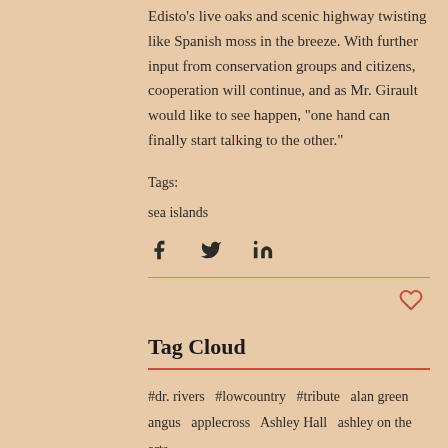Edisto’s live oaks and scenic highway twisting like Spanish moss in the breeze. With further input from conservation groups and citizens, cooperation will continue, and as Mr. Girault would like to see happen, “one hand can finally start talking to the other.”
Tags:
sea islands
[Figure (infographic): Social share icons: Facebook (f), Twitter (bird), LinkedIn (in)]
[Figure (infographic): Heart/like icon in red outline]
Tag Cloud
#dr. rivers  #lowcountry  #tribute  alan green
angus  applecross  Ashley Hall  ashley on the arts